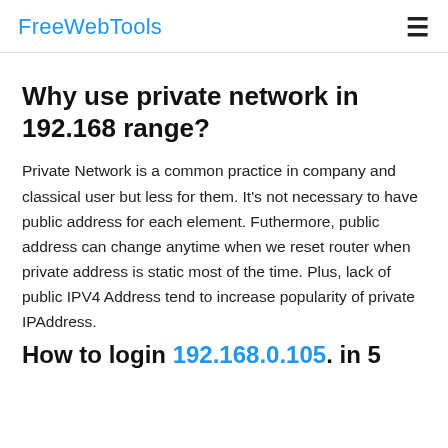FreeWebTools
Why use private network in 192.168 range?
Private Network is a common practice in company and classical user but less for them. It's not necessary to have public address for each element. Futhermore, public address can change anytime when we reset router when private address is static most of the time. Plus, lack of public IPV4 Address tend to increase popularity of private IPAddress.
How to login 192.168.0.105. in 5